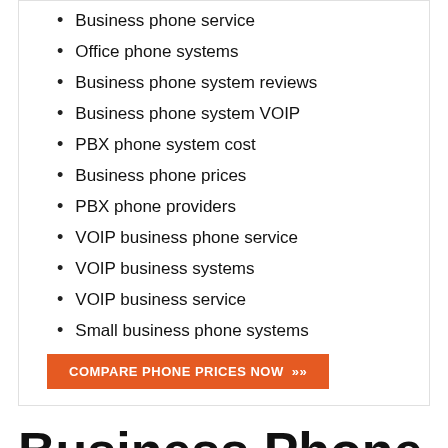Business phone service
Office phone systems
Business phone system reviews
Business phone system VOIP
PBX phone system cost
Business phone prices
PBX phone providers
VOIP business phone service
VOIP business systems
VOIP business service
Small business phone systems
COMPARE PHONE PRICES NOW »»
Business Phone Systems in San Diego CA